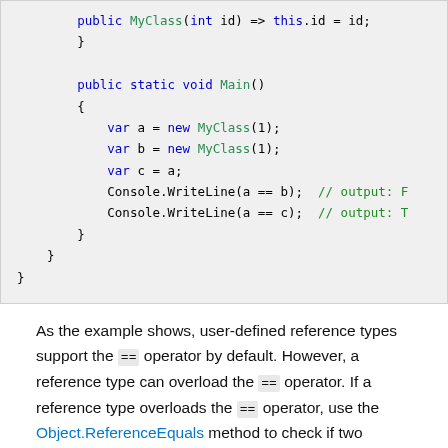[Figure (screenshot): C# code block showing a class with a Main method using var declarations and Console.WriteLine statements comparing object references with == operator]
As the example shows, user-defined reference types support the == operator by default. However, a reference type can overload the == operator. If a reference type overloads the == operator, use the Object.ReferenceEquals method to check if two references of that type refer to the same object.
Record types equality